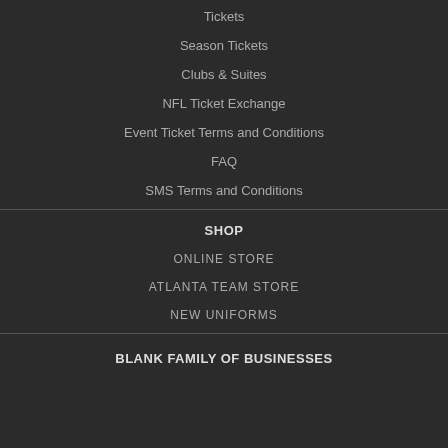Tickets
Season Tickets
Clubs & Suites
NFL Ticket Exchange
Event Ticket Terms and Conditions
FAQ
SMS Terms and Conditions
SHOP
ONLINE STORE
ATLANTA TEAM STORE
NEW UNIFORMS
BLANK FAMILY OF BUSINESSES